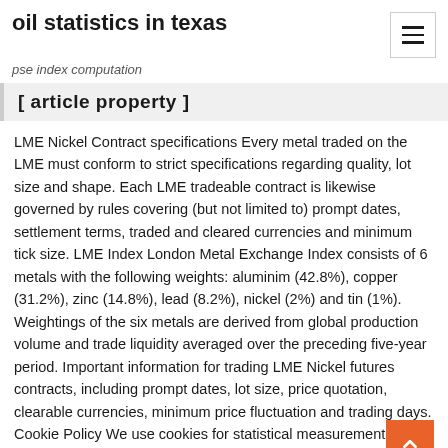oil statistics in texas
pse index computation
[ article property ]
LME Nickel Contract specifications Every metal traded on the LME must conform to strict specifications regarding quality, lot size and shape. Each LME tradeable contract is likewise governed by rules covering (but not limited to) prompt dates, settlement terms, traded and cleared currencies and minimum tick size. LME Index London Metal Exchange Index consists of 6 metals with the following weights: aluminim (42.8%), copper (31.2%), zinc (14.8%), lead (8.2%), nickel (2%) and tin (1%). Weightings of the six metals are derived from global production volume and trade liquidity averaged over the preceding five-year period. Important information for trading LME Nickel futures contracts, including prompt dates, lot size, price quotation, clearable currencies, minimum price fluctuation and trading days. Cookie Policy We use cookies for statistical measurement purposes, to help improve our website and